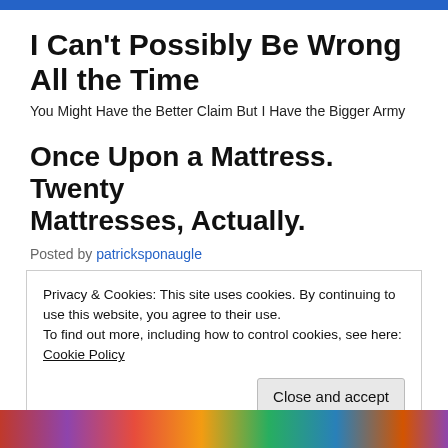I Can't Possibly Be Wrong All the Time
You Might Have the Better Claim But I Have the Bigger Army
Once Upon a Mattress. Twenty Mattresses, Actually.
Posted by patricksponaugle
Privacy & Cookies: This site uses cookies. By continuing to use this website, you agree to their use.
To find out more, including how to control cookies, see here: Cookie Policy
Close and accept
[Figure (photo): Colorful theatrical performance photo strip at the bottom of the page]